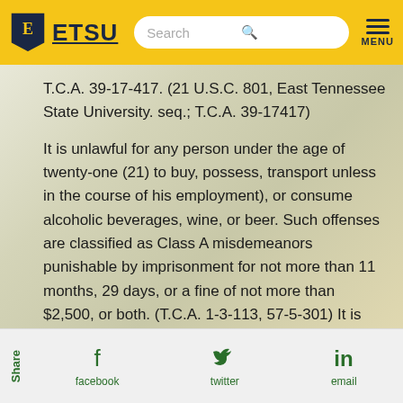ETSU — Search — MENU
T.C.A. 39-17-417. (21 U.S.C. 801, East Tennessee State University. seq.; T.C.A. 39-17417)
It is unlawful for any person under the age of twenty-one (21) to buy, possess, transport unless in the course of his employment), or consume alcoholic beverages, wine, or beer. Such offenses are classified as Class A misdemeanors punishable by imprisonment for not more than 11 months, 29 days, or a fine of not more than $2,500, or both. (T.C.A. 1-3-113, 57-5-301) It is further an offense to provide
Share  facebook  twitter  email